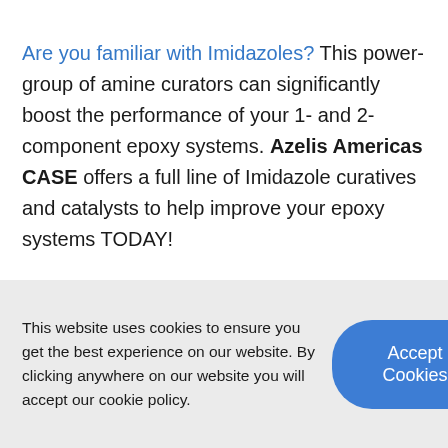Are you familiar with Imidazoles? This power-group of amine curators can significantly boost the performance of your 1- and 2-component epoxy systems. Azelis Americas CASE offers a full line of Imidazole curatives and catalysts to help improve your epoxy systems TODAY!
This website uses cookies to ensure you get the best experience on our website. By clicking anywhere on our website you will accept our cookie policy.